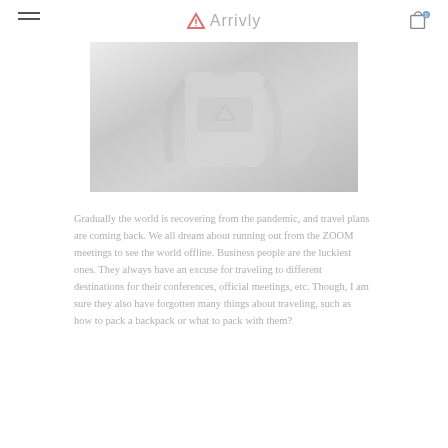Arrivly
[Figure (photo): A person wearing or holding a light-colored backpack, washed-out/faded image style]
Gradually the world is recovering from the pandemic, and travel plans are coming back. We all dream about running out from the ZOOM meetings to see the world offline. Business people are the luckiest ones. They always have an excuse for traveling to different destinations for their conferences, official meetings, etc. Though, I am sure they also have forgotten many things about traveling, such as how to pack a backpack or what to pack with them?